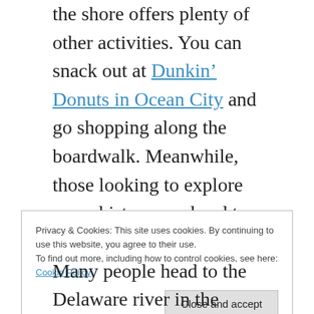the shore offers plenty of other activities. You can snack out at Dunkin' Donuts in Ocean City and go shopping along the boardwalk. Meanwhile, those looking to explore some history can head to Cape May, where there is plenty of Victorian architecture to marvel at and a range of museums. And of course, there's Atlantic City, where you'll find casinos and world-class spas.
Privacy & Cookies: This site uses cookies. By continuing to use this website, you agree to their use.
To find out more, including how to control cookies, see here:
Cookie Policy
[Close and accept]
Many people head to the Delaware river in the